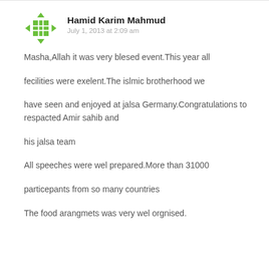[Figure (logo): Green geometric avatar icon with grid and arrow pattern]
Hamid Karim Mahmud
July 1, 2013 at 2:09 am
Masha,Allah it was very blesed event.This year all

fecilities were exelent.The islmic brotherhood we

have seen and enjoyed at jalsa Germany.Congratulations to respacted Amir sahib and

his jalsa team

All speeches were wel prepared.More than 31000

particepants from so many countries

The food arangmets was very wel orgnised.